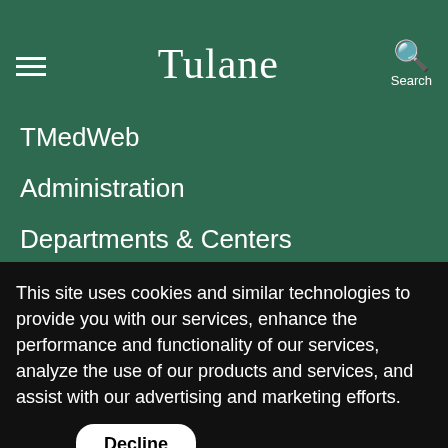Tulane
TMedWeb
Administration
Departments & Centers
Room Reservations
This site uses cookies and similar technologies to provide you with our services, enhance the performance and functionality of our services, analyze the use of our products and services, and assist with our advertising and marketing efforts.
Decline